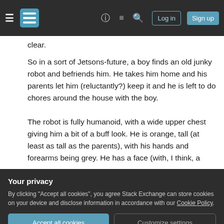Stack Exchange navigation bar with hamburger menu, logo, help icon, chat icon, search icon, Log in button, Sign up button
clear.
So in a sort of Jetsons-future, a boy finds an old junky robot and befriends him. He takes him home and his parents let him (reluctantly?) keep it and he is left to do chores around the house with the boy.
The robot is fully humanoid, with a wide upper chest giving him a bit of a buff look. He is orange, tall (at least as tall as the parents), with his hands and forearms being grey. He has a face (with, I think, a
Your privacy
By clicking "Accept all cookies", you agree Stack Exchange can store cookies on your device and disclose information in accordance with our Cookie Policy.
had a very distinct appearance; it was all metallic